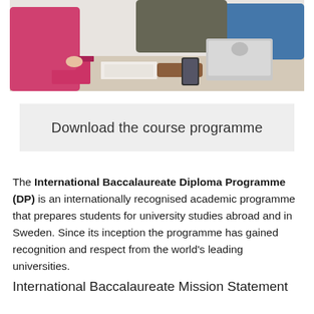[Figure (photo): Students sitting around a table studying together, with books, notebooks, a phone, and an open laptop visible on the table. A person in a pink top is leaning forward.]
Download the course programme
The International Baccalaureate Diploma Programme (DP) is an internationally recognised academic programme that prepares students for university studies abroad and in Sweden. Since its inception the programme has gained recognition and respect from the world's leading universities.
International Baccalaureate Mission Statement